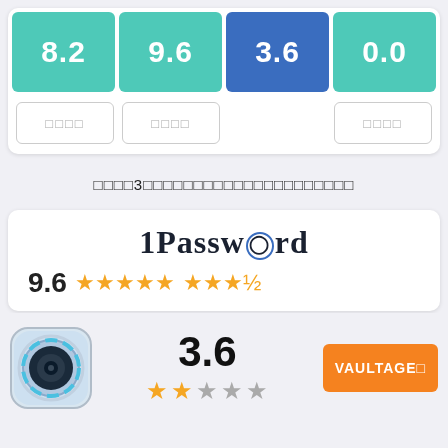[Figure (infographic): Score comparison bar section showing four scores: 8.2 (teal), 9.6 (teal), 3.6 (blue/highlighted), 0.0 (teal) with three button placeholders below]
□□□□3□□□□□□□□□□□□□□□□□□□□□
[Figure (infographic): 1Password app card showing logo, score 9.6 with star rating]
[Figure (infographic): App icon for Vaultage with score 3.6, 2-star rating, and VAULTAGE button in orange]